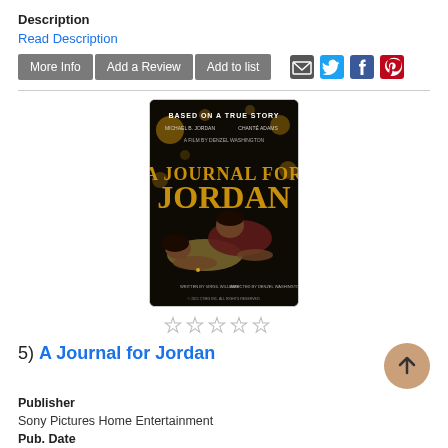Description
Read Description
More Info | Add a Review | Add to list
[Figure (other): Movie poster for 'A Journal for Jordan' - Based on a True Story, starring Michael B. Jordan and Chante Adams, a film by Denzel Washington. Shows two people in a romantic pose.]
[Figure (other): Five empty star rating icons]
5) A Journal for Jordan
Publisher
Sony Pictures Home Entertainment
Pub. Date
2022,